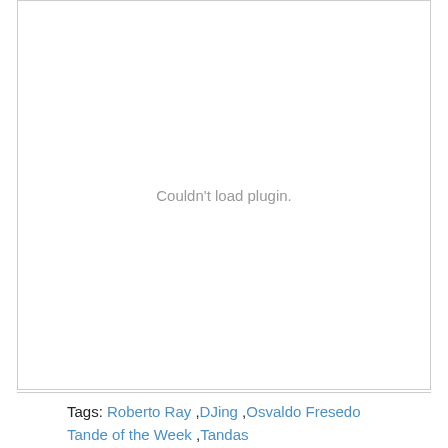[Figure (other): Plugin embed area showing 'Couldn't load plugin.' error message in gray text centered in a bordered box]
Tags: Roberto Ray ,DJing ,Osvaldo Fresedo ,Tande of the Week ,Tandas